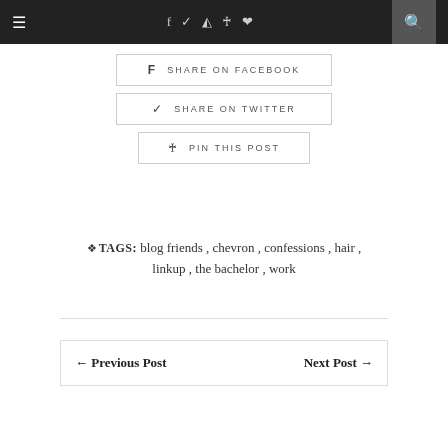Navigation bar with hamburger menu, social icons (f, twitter, instagram, pinterest, heart), and search
SHARE ON FACEBOOK
SHARE ON TWITTER
PIN THIS POST
TAGS: blog friends, chevron, confessions, hair, linkup, the bachelor, work
← Previous Post    Next Post →